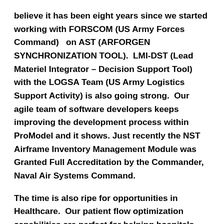believe it has been eight years since we started working with FORSCOM (US Army Forces Command)   on AST (ARFORGEN SYNCHRONIZATION TOOL).  LMI-DST (Lead Materiel Integrator – Decision Support Tool) with the LOGSA Team (US Army Logistics Support Activity) is also going strong.  Our agile team of software developers keeps improving the development process within ProModel and it shows. Just recently the NST Airframe Inventory Management Module was Granted Full Accreditation by the Commander, Naval Air Systems Command.
The time is also ripe for opportunities in Healthcare.  Our patient flow optimization capabilities are perfect for helping hospitals and outpatient clinics improve efficiencies.  Now that the Affordable Care Act has been around for a couple of years, its impact is being felt by